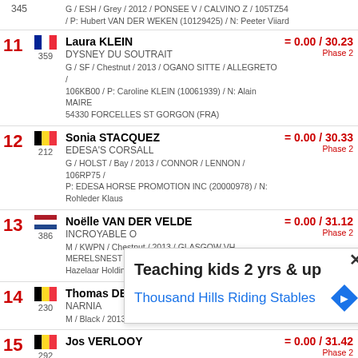345 – G / ESH / Grey / 2012 / PONSEE V / CALVINO Z / 105TZ54 / P: Hubert VAN DER WEKEN (10129425) / N: Peeter Viiard
11 Laura KLEIN – DYSNEY DU SOUTRAIT – 359 – G / SF / Chestnut / 2013 / OGANO SITTE / ALLEGRETO / 106KB00 / P: Caroline KLEIN (10061939) / N: Alain MAIRE 54330 FORCELLES ST GORGON (FRA) – = 0.00 / 30.23 Phase 2
12 Sonia STACQUEZ – EDESA'S CORSALL – 212 – G / HOLST / Bay / 2013 / CONNOR / LENNON / 106RP75 / P: EDESA HORSE PROMOTION INC (20000978) / N: Rohleder Klaus – = 0.00 / 30.33 Phase 2
13 Noëlle VAN DER VELDE – INCROYABLE O – 386 – M / KWPN / Chestnut / 2013 / GLASGOW VH MERELSNEST / INDOCTRO / 106RI83 / P: Hoeve de Hazelaar Holding B.V. (20006196) / N: G.K.M. van Oers – = 0.00 / 31.12 Phase 2
14 Thomas DE WIT – NARNIA – 230 – M / Black / 2013 / 107JB51 / P: Schuppen – = 0.00 / 31.15 Phase 2
15 Jos VERLOOY – 292 – = 0.00 / 31.42 Phase 2
16 – 308 – 0 / 31.48 Phase 2
[Figure (infographic): Advertisement overlay: Teaching kids 2 yrs & up – Thousand Hills Riding Stables with diamond route sign icon, and a close (X) button]